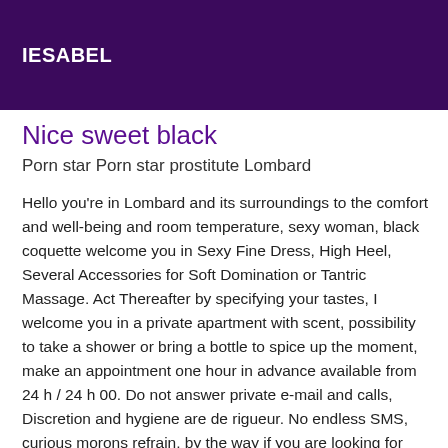IESABEL
Nice sweet black
Porn star Porn star prostitute Lombard
Hello you're in Lombard and its surroundings to the comfort and well-being and room temperature, sexy woman, black coquette welcome you in Sexy Fine Dress, High Heel, Several Accessories for Soft Domination or Tantric Massage. Act Thereafter by specifying your tastes, I welcome you in a private apartment with scent, possibility to take a shower or bring a bottle to spice up the moment, make an appointment one hour in advance available from 24 h / 24 h 00. Do not answer private e-mail and calls, Discretion and hygiene are de rigueur. No endless SMS, curious morons refrain, by the way if you are looking for company for a dinner, an outing, a night or another trip then know that ROSY is there to satisfy your desires. I practice real Californian massage naturalist massage